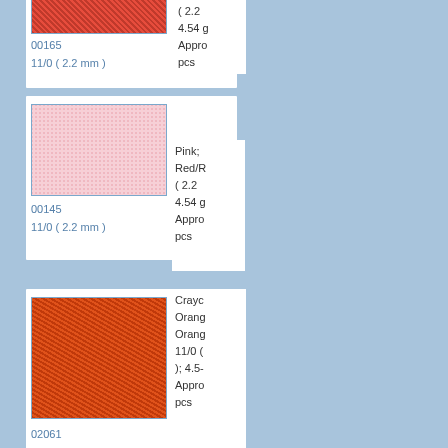[Figure (photo): Red seed beads swatch, product 00165, 11/0 (2.2 mm)]
00165
11/0 ( 2.2 mm )
( 2.2
4.54 g
Approx
pcs
[Figure (photo): Pink seed beads swatch, product 00145, 11/0 (2.2 mm)]
00145
11/0 ( 2.2 mm )
Pink;
Red/R
( 2.2
4.54 g
Approx
pcs
[Figure (photo): Orange seed beads swatch, product 02061, 11/0 (2.2 mm)]
02061
11/0 ( 2.2 mm )
Crayc
Orang
Orang
11/0 (
); 4.5-
Approx
pcs